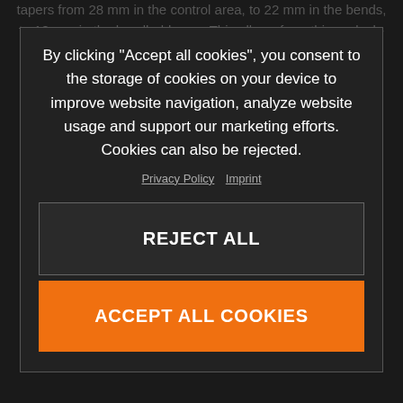tapers from 28 mm in the control area, to 22 mm in the bends, to 18 mm in the handhold area. This allows for a thinner lock-on ODI grip
crash pad on the handlebar space protects the rider from rough contact.
By clicking “Accept all cookies”, you consent to the storage of cookies on your device to improve website navigation, analyze website usage and support our marketing efforts. Cookies can also be rejected.
Privacy Policy  Imprint
REJECT ALL
ACCEPT ALL COOKIES